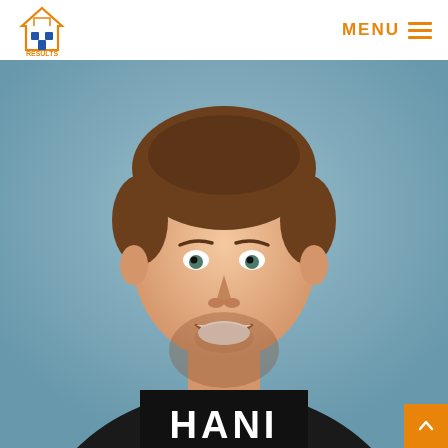Results Realty — MENU navigation
[Figure (photo): Headshot of a young man with brown hair with blonde highlights, short beard, wearing a black blazer and a black t-shirt that says HANI, smiling, against a blue-grey background]
[Figure (logo): Results Realty logo with house icon and orange/blue text]